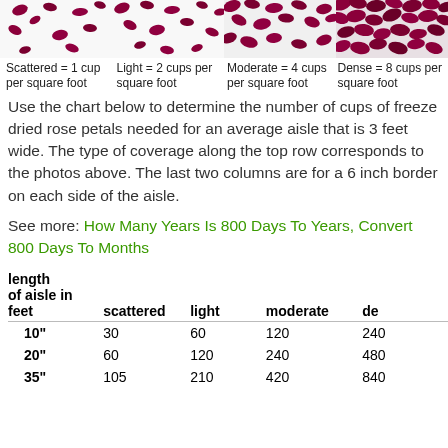[Figure (photo): Four photos showing rose petals at different densities: scattered, light, moderate, dense on white backgrounds]
Scattered = 1 cup per square foot   Light = 2 cups per square foot   Moderate = 4 cups per square foot   Dense = 8 cups per square foot
Use the chart below to determine the number of cups of freeze dried rose petals needed for an average aisle that is 3 feet wide. The type of coverage along the top row corresponds to the photos above. The last two columns are for a 6 inch border on each side of the aisle.
See more: How Many Years Is 800 Days To Years, Convert 800 Days To Months
| length of aisle in feet | scattered | light | moderate | dense |
| --- | --- | --- | --- | --- |
| 10" | 30 | 60 | 120 | 240 |
| 20" | 60 | 120 | 240 | 480 |
| 35" | 105 | 210 | 420 | 840 |